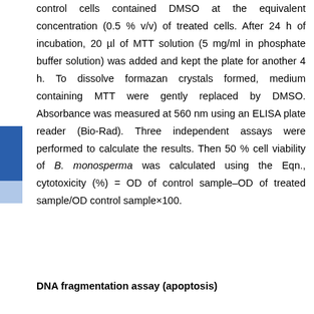control cells contained DMSO at the equivalent concentration (0.5 % v/v) of treated cells. After 24 h of incubation, 20 µl of MTT solution (5 mg/ml in phosphate buffer solution) was added and kept the plate for another 4 h. To dissolve formazan crystals formed, medium containing MTT were gently replaced by DMSO. Absorbance was measured at 560 nm using an ELISA plate reader (Bio-Rad). Three independent assays were performed to calculate the results. Then 50 % cell viability of B. monosperma was calculated using the Eqn., cytotoxicity (%) = OD of control sample–OD of treated sample/OD control sample×100.
DNA fragmentation assay (apoptosis)